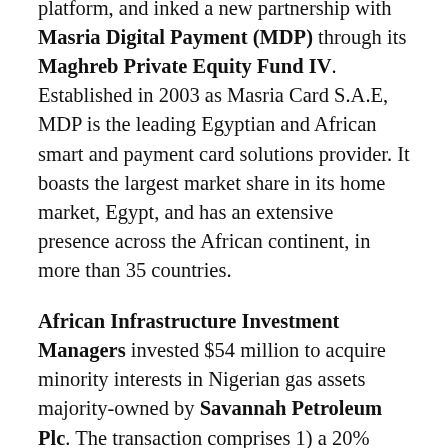platform, and inked a new partnership with Masria Digital Payment (MDP) through its Maghreb Private Equity Fund IV. Established in 2003 as Masria Card S.A.E, MDP is the leading Egyptian and African smart and payment card solutions provider. It boasts the largest market share in its home market, Egypt, and has an extensive presence across the African continent, in more than 35 countries.
African Infrastructure Investment Managers invested $54 million to acquire minority interests in Nigerian gas assets majority-owned by Savannah Petroleum Plc. The transaction comprises 1) a 20% stake in Seven Uquo Gas Limited, the entity that holds an interest in the Uquo gas field located in South East Nigeria, and 2) a further 20% stake in Accugas, the integrated